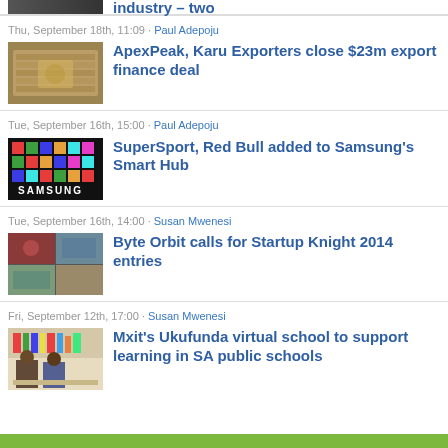Thu, September 18th, 11:09 · Paul Adepoju
[Figure (photo): Stack of US dollar bills]
ApexPeak, Karu Exporters close $23m export finance deal
Tue, September 16th, 15:00 · Paul Adepoju
[Figure (photo): Samsung Smart Hub display with colorful blocks and Samsung sign]
SuperSport, Red Bull added to Samsung's Smart Hub
Tue, September 16th, 14:00 · Susan Mwenesi
[Figure (photo): Byte Orbit startup collage of images]
Byte Orbit calls for Startup Knight 2014 entries
Fri, September 12th, 17:00 · Susan Mwenesi
[Figure (photo): Students in school uniforms working at a desk]
Mxit's Ukufunda virtual school to support learning in SA public schools